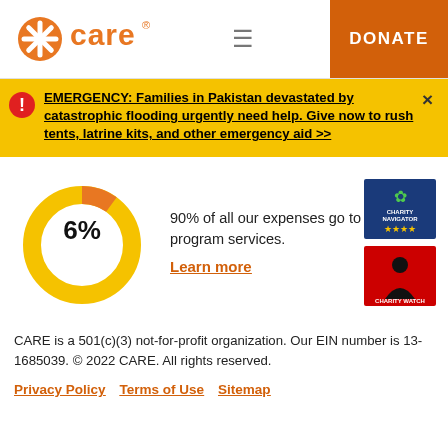CARE | DONATE
EMERGENCY: Families in Pakistan devastated by catastrophic flooding urgently need help. Give now to rush tents, latrine kits, and other emergency aid >>
[Figure (donut-chart): Donut chart showing 6% administrative expenses; 90% of all expenses go to program services]
90% of all our expenses go to program services.
Learn more
[Figure (logo): Charity Navigator four-star charity badge]
[Figure (logo): CharityWatch badge]
CARE is a 501(c)(3) not-for-profit organization. Our EIN number is 13-1685039. © 2022 CARE. All rights reserved.
Privacy Policy   Terms of Use   Sitemap